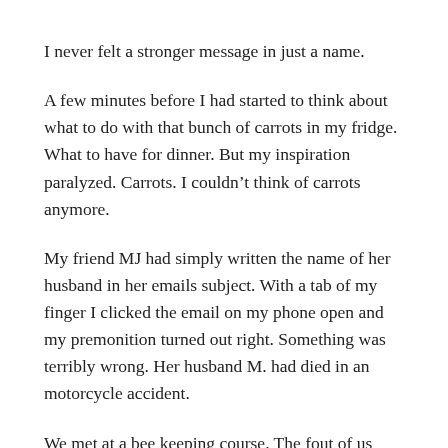I never felt a stronger message in just a name.
A few minutes before I had started to think about what to do with that bunch of carrots in my fridge. What to have for dinner. But my inspiration paralyzed. Carrots. I couldn't think of carrots anymore.
My friend MJ had simply written the name of her husband in her emails subject. With a tab of my finger I clicked the email on my phone open and my premonition turned out right. Something was terribly wrong. Her husband M. had died in an motorcycle accident.
We met at a bee keeping course. The fout of us started talking and never stopped. Our families, a green living, the reasons for not having kids, his old Harley Davidson which was built as a transport motor and used in the Second